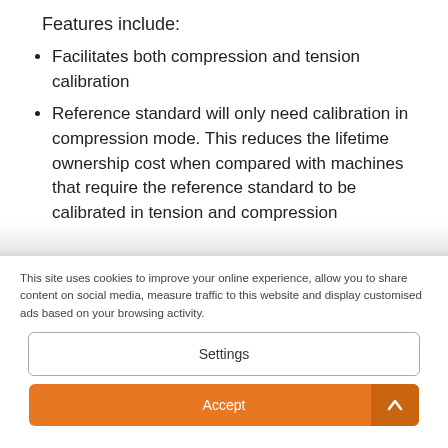Features include:
Facilitates both compression and tension calibration
Reference standard will only need calibration in compression mode. This reduces the lifetime ownership cost when compared with machines that require the reference standard to be calibrated in tension and compression
This site uses cookies to improve your online experience, allow you to share content on social media, measure traffic to this website and display customised ads based on your browsing activity.
Settings
Accept